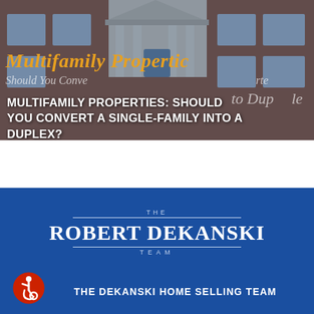[Figure (photo): Photo of a brick multifamily residential building with white columns/portico and windows, with overlaid italic orange text 'Multifamily Properties' and semi-transparent text 'Should You Convert... to Duplex']
MULTIFAMILY PROPERTIES: SHOULD YOU CONVERT A SINGLE-FAMILY INTO A DUPLEX?
[Figure (logo): The Robert Dekanski Team logo — horizontal lines above and below the name, 'THE' small above, 'ROBERT DEKANSKI' large, 'TEAM' small below, on a blue background]
[Figure (illustration): Accessibility icon — red circle with white wheelchair user symbol]
THE DEKANSKI HOME SELLING TEAM